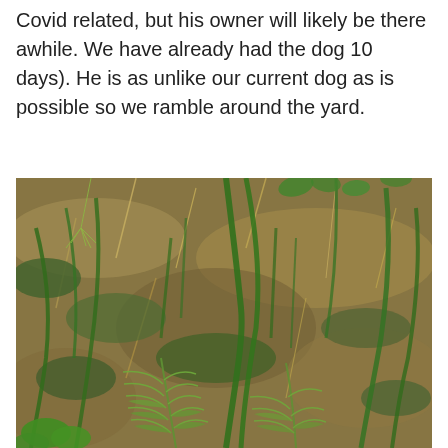Covid related, but his owner will likely be there awhile. We have already had the dog 10 days). He is as unlike our current dog as is possible so we ramble around the yard.
[Figure (photo): Close-up photograph of a garden or yard ground showing green grass, moss, dry straw, weeds, and small fern-like plants growing together in a naturalistic, somewhat overgrown patch.]